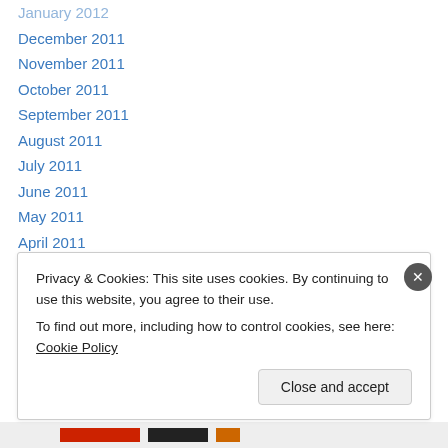January 2012
December 2011
November 2011
October 2011
September 2011
August 2011
July 2011
June 2011
May 2011
April 2011
March 2011
February 2011
January 2011
December 2010
Privacy & Cookies: This site uses cookies. By continuing to use this website, you agree to their use.
To find out more, including how to control cookies, see here: Cookie Policy
Close and accept